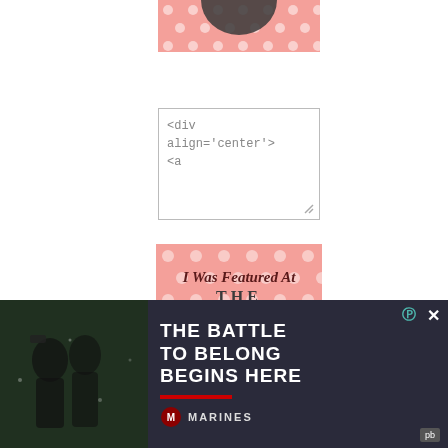[Figure (illustration): Top portion of a pink polka dot decorative blog badge, showing bottom edge of a circular emblem on pink dotted background.]
[Figure (screenshot): HTML embed code textarea showing '<div align="center">' and '<a' on second line, with a resize handle in the bottom-right corner.]
[Figure (illustration): Pink polka dot square badge reading 'I Was Featured At The Wednesday Roundup' with a dark oval cartouche for 'Roundup' and a watermark logo in the center.]
[Figure (illustration): Bottom partial view of another pink polka dot badge, mostly cut off.]
[Figure (other): Advertisement banner: dark background with soldier image on left, bold white text 'THE BATTLE TO BELONG BEGINS HERE', red bar, US Marines logo. Has close (x) and P icon buttons, and a small PB icon at bottom right.]